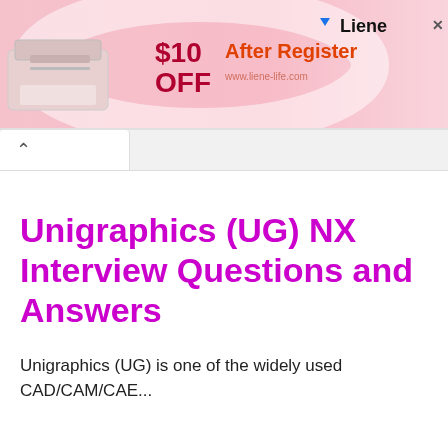[Figure (screenshot): Advertisement banner for Liene brand with pink gradient background, showing a printer image, '$10 OFF After Register' text, and website www.liene-life.com]
Unigraphics (UG) NX Interview Questions and Answers
Unigraphics (UG) is one of the widely used CAD/CAM/CAE...